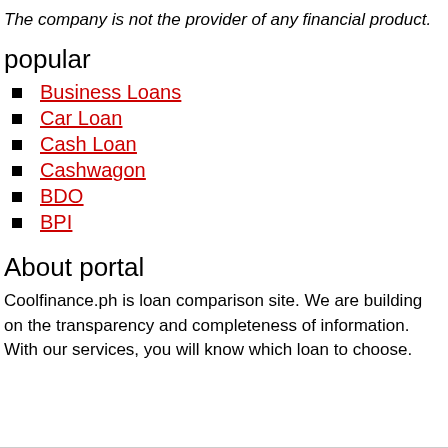The company is not the provider of any financial product.
popular
Business Loans
Car Loan
Cash Loan
Cashwagon
BDO
BPI
About portal
Coolfinance.ph is loan comparison site. We are building on the transparency and completeness of information. With our services, you will know which loan to choose.